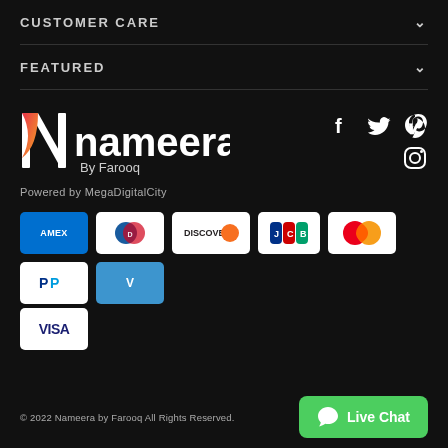CUSTOMER CARE
FEATURED
[Figure (logo): Nameera by Farooq logo with social media icons (Facebook, Twitter, Pinterest, Instagram)]
Powered by MegaDigitalCity
[Figure (infographic): Payment method icons: AMEX, Diners Club, Discover, JCB, Mastercard, PayPal, Venmo, Visa]
© 2022 Nameera by Farooq All Rights Reserved.